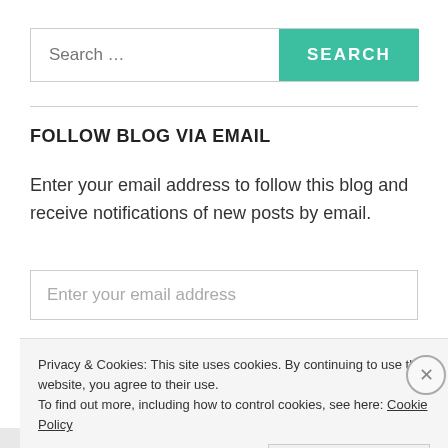[Figure (screenshot): Search bar with text input showing 'Search ...' placeholder and a teal 'SEARCH' button]
FOLLOW BLOG VIA EMAIL
Enter your email address to follow this blog and receive notifications of new posts by email.
[Figure (screenshot): Email input field with placeholder 'Enter your email address']
Privacy & Cookies: This site uses cookies. By continuing to use this website, you agree to their use.
To find out more, including how to control cookies, see here: Cookie Policy
Close and accept
HIPERTEXTUAL